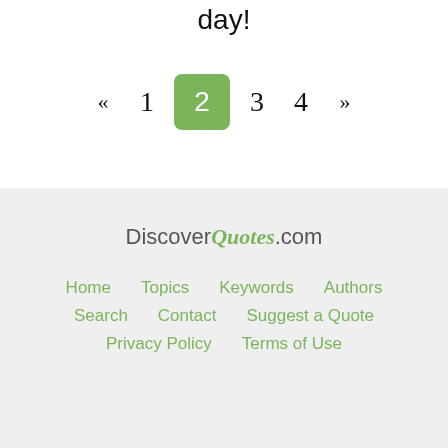day!
« 1 2 3 4 »
DiscoverQuotes.com
Home   Topics   Keywords   Authors   Search   Contact   Suggest a Quote   Privacy Policy   Terms of Use